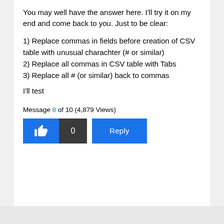You may well have the answer here. I'll try it on my end and come back to you. Just to be clear:
1) Replace commas in fields before creation of CSV table with unusual charachter (# or similar)
2) Replace all commas in CSV table with Tabs
3) Replace all # (or similar) back to commas
I'll test
Message 8 of 10 (4,879 Views)